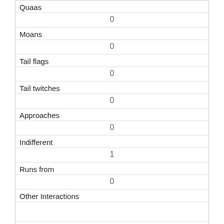| Quaas | 0 |
| Moans | 0 |
| Tail flags | 0 |
| Tail twitches | 0 |
| Approaches | 0 |
| Indifferent | 1 |
| Runs from | 0 |
| Other Interactions |  |
| Lat/Long | POINT (-73.9783185278595 40.7724861675504) |
| Link | 774 |